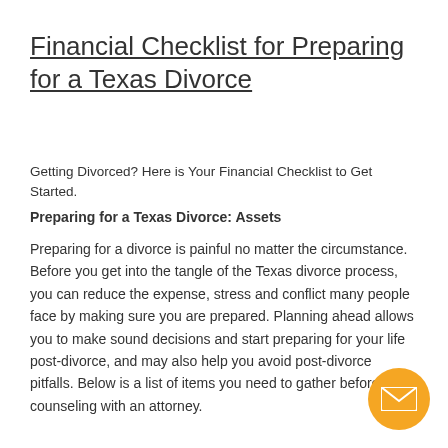Financial Checklist for Preparing for a Texas Divorce
Getting Divorced? Here is Your Financial Checklist to Get Started.
Preparing for a Texas Divorce: Assets
Preparing for a divorce is painful no matter the circumstance. Before you get into the tangle of the Texas divorce process, you can reduce the expense, stress and conflict many people face by making sure you are prepared. Planning ahead allows you to make sound decisions and start preparing for your life post-divorce, and may also help you avoid post-divorce pitfalls. Below is a list of items you need to gather before counseling with an attorney.
[Figure (other): Orange circular email/contact button with envelope icon in bottom-right corner]